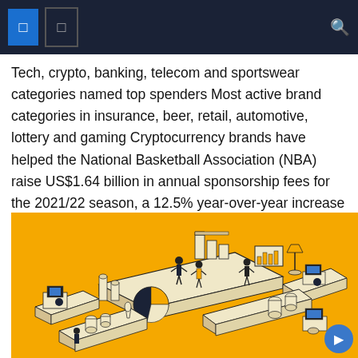Tech, crypto, banking, telecom and sportswear categories named top spenders Most active brand categories in insurance, beer, retail, automotive, lottery and gaming Cryptocurrency brands have helped the National Basketball Association (NBA) raise US$1.64 billion in annual sponsorship fees for the 2021/22 season, a 12.5% year-over-year increase [...]
[Figure (illustration): Isometric illustration on a yellow/orange background showing a business analytics or data scene with stylized figures of people working around large bar charts, pie charts, and office furniture including desks, computers, and lamps, rendered in a black, white, and yellow color scheme.]